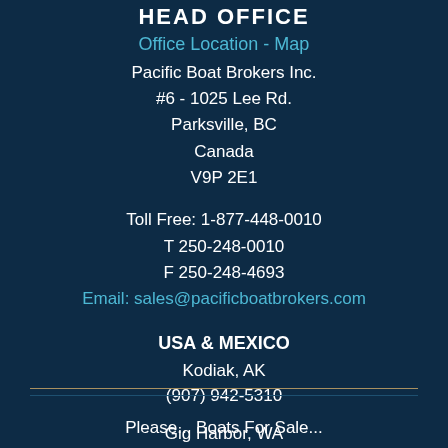HEAD OFFICE
Office Location - Map
Pacific Boat Brokers Inc.
#6 - 1025 Lee Rd.
Parksville, BC
Canada
V9P 2E1
Toll Free: 1-877-448-0010
T 250-248-0010
F 250-248-4693
Email: sales@pacificboatbrokers.com
USA & MEXICO
Kodiak, AK
(907) 942-5310
Gig Harbor, WA
(206) 817-4166
La Paz, Mexico
(360) 332-9526
Please... Boats For Sale...